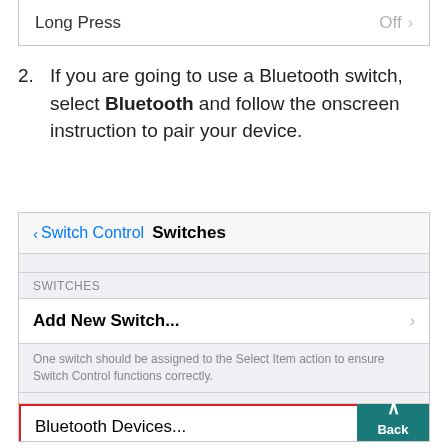[Figure (screenshot): iOS settings row showing 'Long Press' with value 'Off' and a right chevron]
2. If you are going to use a Bluetooth switch, select Bluetooth and follow the onscreen instruction to pair your device.
[Figure (screenshot): iOS Switch Control Switches settings screen showing navigation bar with 'Switch Control' back link and 'Switches' title, a SWITCHES section header, 'Add New Switch...' row with chevron, helper text 'One switch should be assigned to the Select Item action to ensure Switch Control functions correctly.', and 'Bluetooth Devices...' row highlighted with red border. A teal 'Back to top' button overlays the bottom right.]